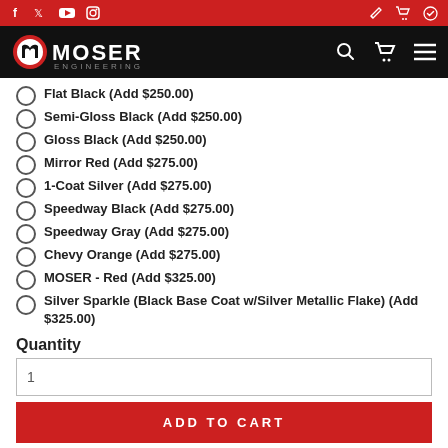Moser Engineering - top navigation bar with social icons and cart/search controls
Flat Black (Add $250.00)
Semi-Gloss Black (Add $250.00)
Gloss Black (Add $250.00)
Mirror Red (Add $275.00)
1-Coat Silver (Add $275.00)
Speedway Black (Add $275.00)
Speedway Gray (Add $275.00)
Chevy Orange (Add $275.00)
MOSER - Red (Add $325.00)
Silver Sparkle (Black Base Coat w/Silver Metallic Flake) (Add $325.00)
Quantity
1
ADD TO CART